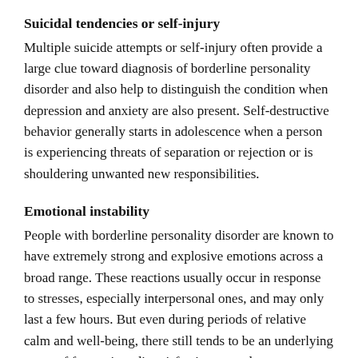Suicidal tendencies or self-injury
Multiple suicide attempts or self-injury often provide a large clue toward diagnosis of borderline personality disorder and also help to distinguish the condition when depression and anxiety are also present. Self-destructive behavior generally starts in adolescence when a person is experiencing threats of separation or rejection or is shouldering unwanted new responsibilities.
Emotional instability
People with borderline personality disorder are known to have extremely strong and explosive emotions across a broad range. These reactions usually occur in response to stresses, especially interpersonal ones, and may only last a few hours. But even during periods of relative calm and well-being, there still tends to be an underlying sense of frustration, dissatisfaction, or sadness.